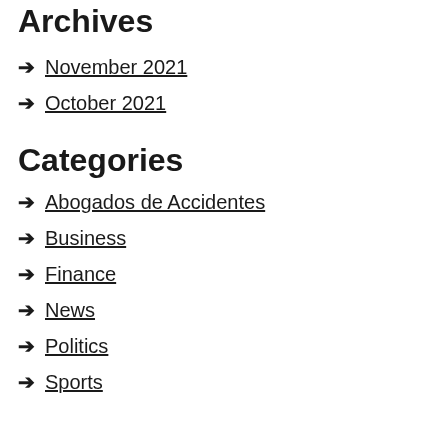Archives
→ November 2021
→ October 2021
Categories
→ Abogados de Accidentes
→ Business
→ Finance
→ News
→ Politics
→ Sports